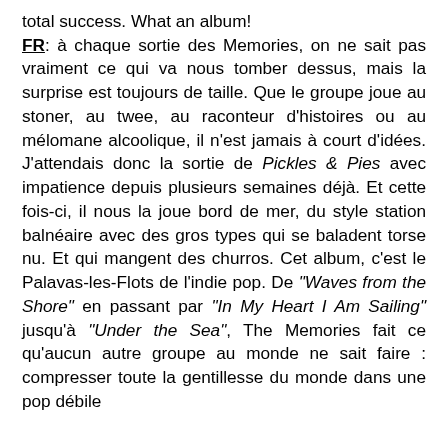total success. What an album! FR: à chaque sortie des Memories, on ne sait pas vraiment ce qui va nous tomber dessus, mais la surprise est toujours de taille. Que le groupe joue au stoner, au twee, au raconteur d'histoires ou au mélomane alcoolique, il n'est jamais à court d'idées. J'attendais donc la sortie de Pickles & Pies avec impatience depuis plusieurs semaines déjà. Et cette fois-ci, il nous la joue bord de mer, du style station balnéaire avec des gros types qui se baladent torse nu. Et qui mangent des churros. Cet album, c'est le Palavas-les-Flots de l'indie pop. De "Waves from the Shore" en passant par "In My Heart I Am Sailing" jusqu'à "Under the Sea", The Memories fait ce qu'aucun autre groupe au monde ne sait faire : compresser toute la gentillesse du monde dans une pop débile